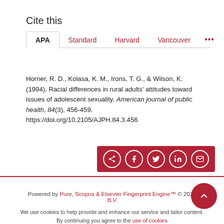Cite this
APA | Standard | Harvard | Vancouver | ...
Horner, R. D., Kolasa, K. M., Irons, T. G., & Wilson, K. (1994). Racial differences in rural adults' attitudes toward issues of adolescent sexuality. American journal of public health, 84(3), 456-459. https://doi.org/10.2105/AJPH.84.3.456
[Figure (other): Share buttons bar with icons for share, Facebook, Twitter, LinkedIn, and email on a dark red background]
Powered by Pure, Scopus & Elsevier Fingerprint Engine™ © 2022 Elsevier B.V
We use cookies to help provide and enhance our service and tailor content. By continuing you agree to the use of cookies